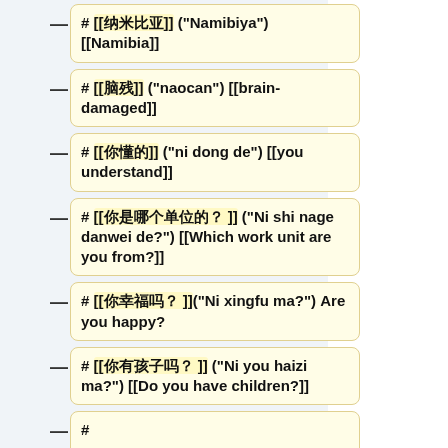# [[纳米比亚]] ("Namibiya") [[Namibia]]
# [[脑残]] ("naocan") [[brain-damaged]]
# [[你懂的]] ("ni dong de") [[you understand]]
# [[你是哪个单位的？]] ("Ni shi nage danwei de?") [[Which work unit are you from?]]
# [[你幸福吗？]]("Ni xingfu ma?") Are you happy?
# [[你有孩子吗？]] ("Ni you haizi ma?") [[Do you have children?]]